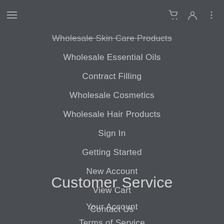Navigation menu header bar with hamburger menu, cart icon, user icon, and more icon
Wholesale Skin Care Products
Wholesale Essential Oils
Contract Filling
Wholesale Cosmetics
Wholesale Hair Products
Sign In
Getting Started
New Account
View Cart
Contact Us
Plant a Tree Foundation
Private Label Skincare Education
Customer Service
Your Account
Terms of Service